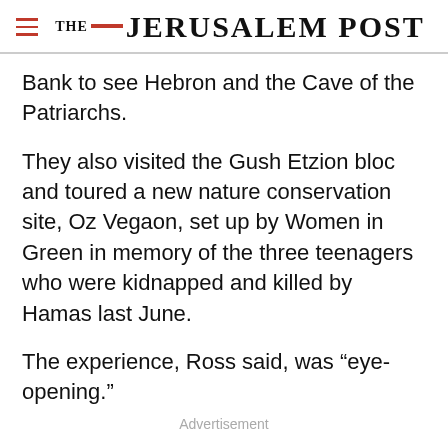THE JERUSALEM POST
Bank to see Hebron and the Cave of the Patriarchs.
They also visited the Gush Etzion bloc and toured a new nature conservation site, Oz Vegaon, set up by Women in Green in memory of the three teenagers who were kidnapped and killed by Hamas last June.
The experience, Ross said, was “eye-opening.”
Advertisement